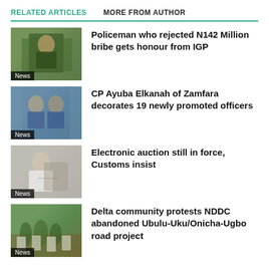RELATED ARTICLES   MORE FROM AUTHOR
Policeman who rejected N142 Million bribe gets honour from IGP
CP Ayuba Elkanah of Zamfara decorates 19 newly promoted officers
Electronic auction still in force, Customs insist
Delta community protests NDDC abandoned Ubulu-Uku/Onicha-Ugbo road project